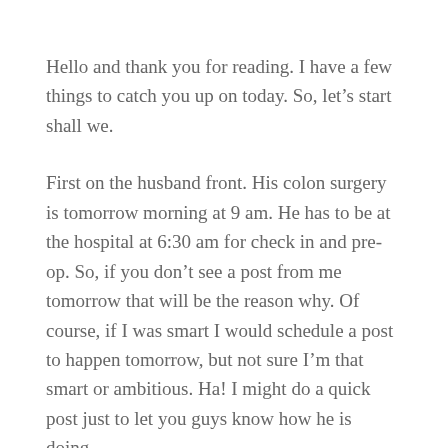Hello and thank you for reading. I have a few things to catch you up on today. So, let's start shall we.
First on the husband front. His colon surgery is tomorrow morning at 9 am. He has to be at the hospital at 6:30 am for check in and pre-op. So, if you don't see a post from me tomorrow that will be the reason why. Of course, if I was smart I would schedule a post to happen tomorrow, but not sure I'm that smart or ambitious. Ha! I might do a quick post just to let you guys know how he is doing.
He'll be in the hospital for about 3 to 7 days, depending on how he does. It is a major...